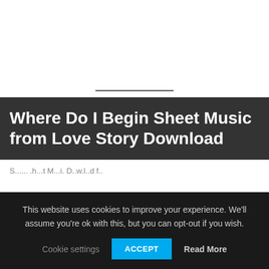Where Do I Begin Sheet Music from Love Story Download
This website uses cookies to improve your experience. We'll assume you're ok with this, but you can opt-out if you wish.